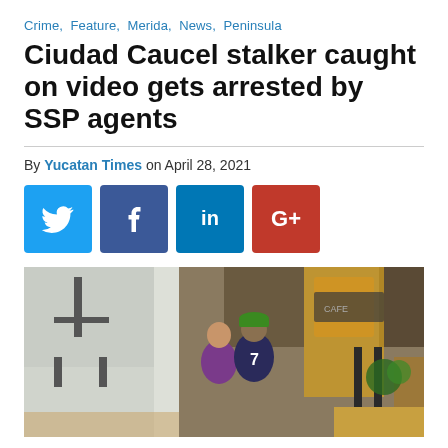Crime, Feature, Merida, News, Peninsula
Ciudad Caucel stalker caught on video gets arrested by SSP agents
By Yucatan Times on April 28, 2021
[Figure (infographic): Social media share buttons: Twitter (blue), Facebook (dark blue), LinkedIn (blue), Google+ (red)]
[Figure (photo): Security camera footage showing two people, one in a purple top and one in a dark shirt with green cap and number 7, inside what appears to be a cafe or shop]